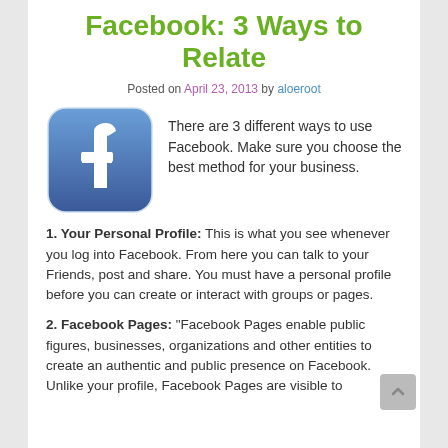Facebook: 3 Ways to Relate
Posted on April 23, 2013 by aloeroot
[Figure (logo): Facebook app icon — blue rounded square with white lowercase 'f' logo]
There are 3 different ways to use Facebook. Make sure you choose the best method for your business.
1. Your Personal Profile: This is what you see whenever you log into Facebook. From here you can talk to your Friends, post and share. You must have a personal profile before you can create or interact with groups or pages.
2. Facebook Pages: "Facebook Pages enable public figures, businesses, organizations and other entities to create an authentic and public presence on Facebook. Unlike your profile, Facebook Pages are visible to